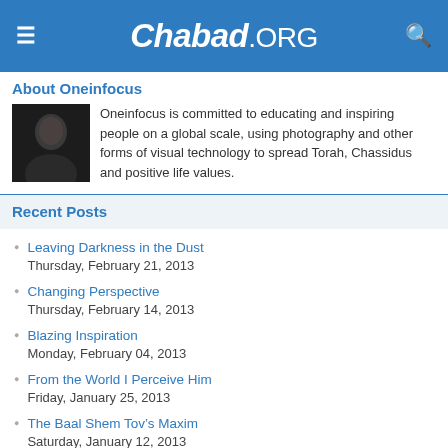Chabad.ORG
About Oneinfocus
[Figure (photo): Dark portrait photo of a person]
Oneinfocus is committed to educating and inspiring people on a global scale, using photography and other forms of visual technology to spread Torah, Chassidus and positive life values.
Recent Posts
Leaving Darkness in the Dust
Thursday, February 21, 2013
Changing Perspective
Thursday, February 14, 2013
Blazing Inspiration
Monday, February 04, 2013
From the World I Perceive Him
Friday, January 25, 2013
The Baal Shem Tov's Maxim
Saturday, January 12, 2013
Illuminating the World
Saturday, December 08, 2012
Launch a Leaf